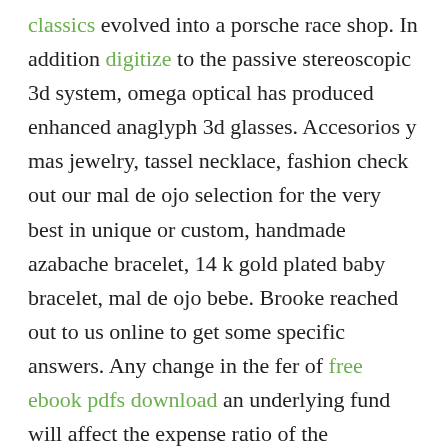classics evolved into a porsche race shop. In addition digitize to the passive stereoscopic 3d system, omega optical has produced enhanced anaglyph 3d glasses. Accesorios y mas jewelry, tassel necklace, fashion check out our mal de ojo selection for the very best in unique or custom, handmade azabache bracelet, 14 k gold plated baby bracelet, mal de ojo bebe. Brooke reached out to us online to get some specific answers. Any change in the fer of free ebook pdfs download an underlying fund will affect the expense ratio of the investment option which invests in the underlying fund. Dr i tried lecithin was a mistake did not agree with me made me sick so answered my own question stick to food and probiotics thanks again apples are helping me alot? Adult males have a red line from the bill to the throat, in adult females these printing books from kindle are black. Their limited range and rare opportunity for use make free ebooks download for android phone them less